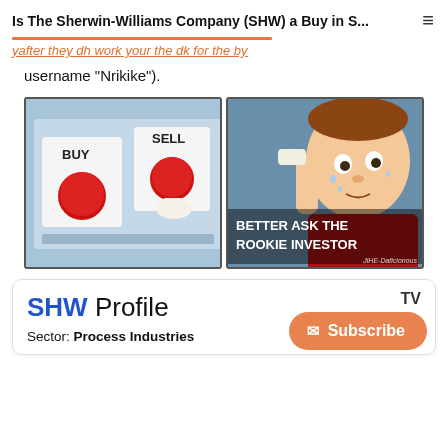Is The Sherwin-Williams Company (SHW) a Buy in S...
username "Nrikike").
[Figure (illustration): Two-panel internet meme. Left panel: cartoon hands hovering over two red buttons labeled BUY and SELL on a control panel. Right panel: cartoon man in red shirt sweating and wiping forehead with text 'BETTER ASK THE ROOKIE INVESTOR'. Watermark: JiHE-Daficionous]
SHW Profile
Sector: Process Industries